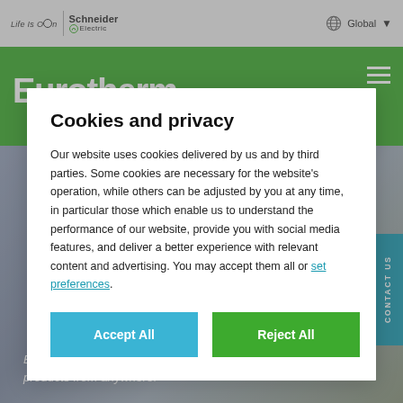[Figure (screenshot): Schneider Electric / Eurotherm website header with navigation bar showing Life Is On Schneider Electric logo and Global region selector]
[Figure (screenshot): Green Eurotherm banner logo with hamburger menu icon]
Cookies and privacy
Our website uses cookies delivered by us and by third parties. Some cookies are necessary for the website’s operation, while others can be adjusted by you at any time, in particular those which enable us to understand the performance of our website, provide you with social media features, and deliver a better experience with relevant content and advertising. You may accept them all or set preferences.
Accept All
Reject All
Enabling you to view, configure and report on your Eurotherm products from anywhere.